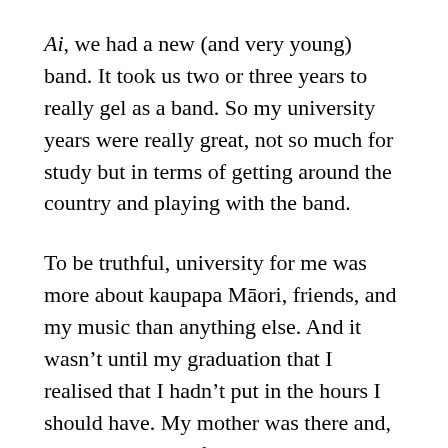Ai, we had a new (and very young) band. It took us two or three years to really gel as a band. So my university years were really great, not so much for study but in terms of getting around the country and playing with the band.
To be truthful, university for me was more about kaupapa Māori, friends, and my music than anything else. And it wasn't until my graduation that I realised that I hadn't put in the hours I should have. My mother was there and, when I returned after receiving my certificate, I saw her crying. I'd forgotten during my study how much she had invested in my education, and memories of her working until all hours of the night on the telephone exchange came flooding back. There